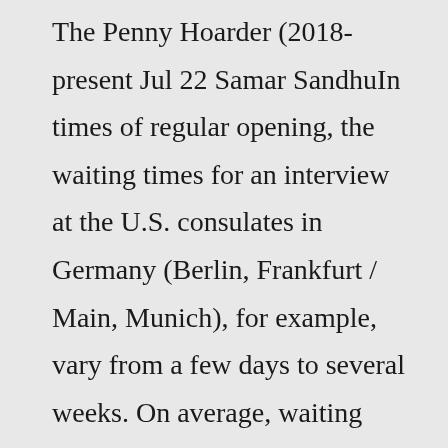The Penny Hoarder (2018-present Jul 22 Samar SandhuIn times of regular opening, the waiting times for an interview at the U.S. consulates in Germany (Berlin, Frankfurt / Main, Munich), for example, vary from a few days to several weeks. On average, waiting times for an appointment are around two to three weeks - under normal conditions.Schedule an appointment. Writer, leadership coach, servant & friend. Helping leaders find